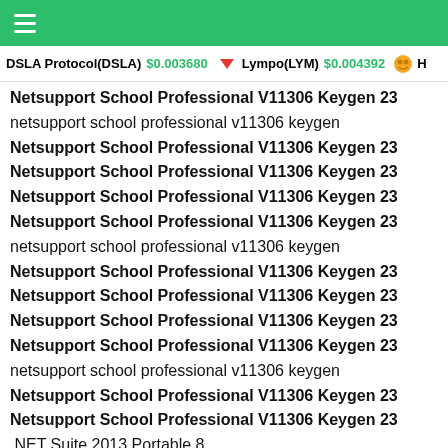DSLA Protocol(DSLA) $0.003680  Lympo(LYM) $0.004392
Netsupport School Professional V11306 Keygen 23
netsupport school professional v11306 keygen
Netsupport School Professional V11306 Keygen 23
Netsupport School Professional V11306 Keygen 23
Netsupport School Professional V11306 Keygen 23
Netsupport School Professional V11306 Keygen 23
netsupport school professional v11306 keygen
Netsupport School Professional V11306 Keygen 23
Netsupport School Professional V11306 Keygen 23
Netsupport School Professional V11306 Keygen 23
Netsupport School Professional V11306 Keygen 23
netsupport school professional v11306 keygen
Netsupport School Professional V11306 Keygen 23
Netsupport School Professional V11306 Keygen 23
.NET Suite 2013 Portable 8.
netsupport school professional v11306 keygen